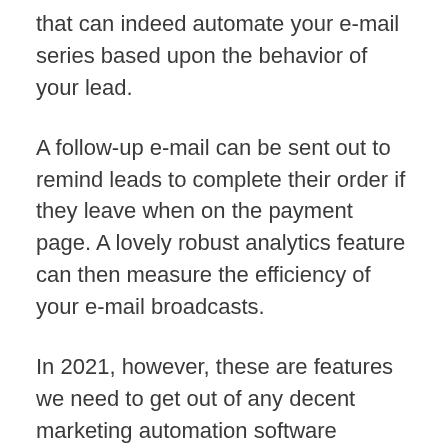that can indeed automate your e-mail series based upon the behavior of your lead.
A follow-up e-mail can be sent out to remind leads to complete their order if they leave when on the payment page. A lovely robust analytics feature can then measure the efficiency of your e-mail broadcasts.
In 2021, however, these are features we need to get out of any decent marketing automation software application. Their email deliverability rates are decent too which is a relief as many new marketing software application platforms have problems in this area.
Kartra started supplied Unlimited emails at the Silver Plan level upwards in May 2020 which